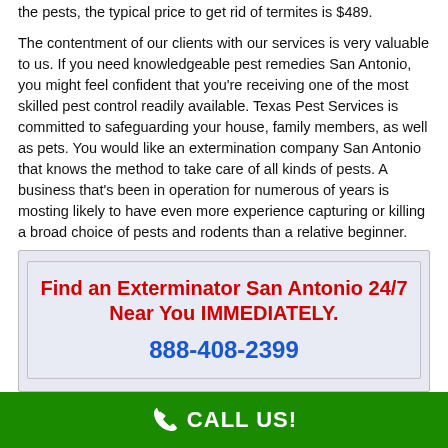the pests, the typical price to get rid of termites is $489.
The contentment of our clients with our services is very valuable to us. If you need knowledgeable pest remedies San Antonio, you might feel confident that you're receiving one of the most skilled pest control readily available. Texas Pest Services is committed to safeguarding your house, family members, as well as pets. You would like an extermination company San Antonio that knows the method to take care of all kinds of pests. A business that's been in operation for numerous of years is mosting likely to have even more experience capturing or killing a broad choice of pests and rodents than a relative beginner.
Find an Exterminator San Antonio 24/7 Near You IMMEDIATELY.
888-408-2399
CALL US!